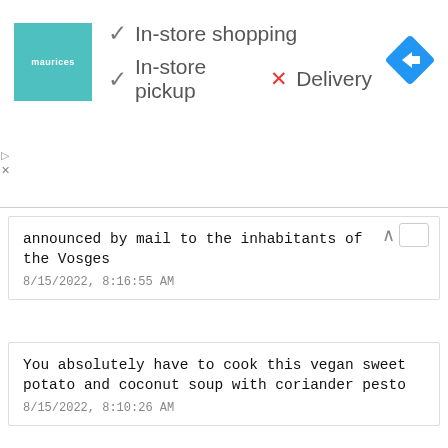[Figure (infographic): Ad banner for maurices store with teal logo square, checkmarks for In-store shopping and In-store pickup, red X for Delivery, and blue diamond road sign icon]
announced by mail to the inhabitants of the Vosges
8/15/2022, 8:16:55 AM
You absolutely have to cook this vegan sweet potato and coconut soup with coriander pesto
8/15/2022, 8:10:26 AM
Putin, Russia and North Korea will expand bilateral relations
8/15/2022
[Figure (infographic): Bottom ad overlay: All Israel News - Unfiltered news from Israel - OPEN button]